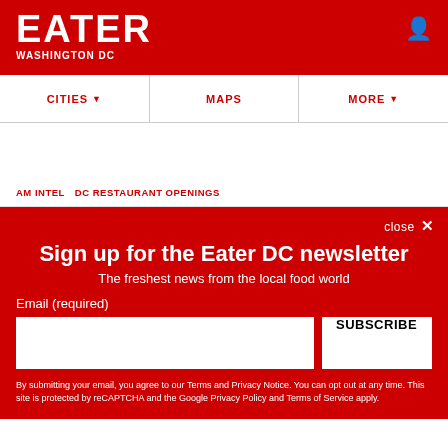EATER WASHINGTON DC
CITIES ▼
MAPS
MORE ▼
AM INTEL
DC RESTAURANT OPENINGS
Sign up for the Eater DC newsletter
The freshest news from the local food world
Email (required)
SUBSCRIBE
By submitting your email, you agree to our Terms and Privacy Notice. You can opt out at any time. This site is protected by reCAPTCHA and the Google Privacy Policy and Terms of Service apply.